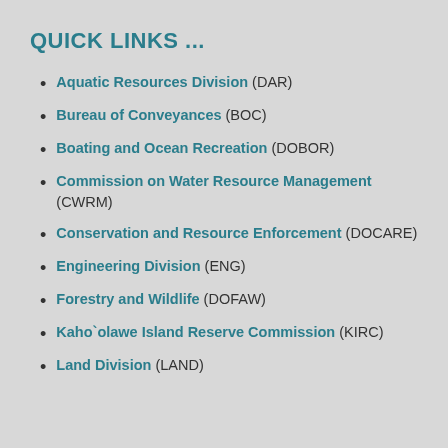QUICK LINKS ...
Aquatic Resources Division (DAR)
Bureau of Conveyances (BOC)
Boating and Ocean Recreation (DOBOR)
Commission on Water Resource Management (CWRM)
Conservation and Resource Enforcement (DOCARE)
Engineering Division (ENG)
Forestry and Wildlife (DOFAW)
Kaho`olawe Island Reserve Commission (KIRC)
Land Division (LAND)